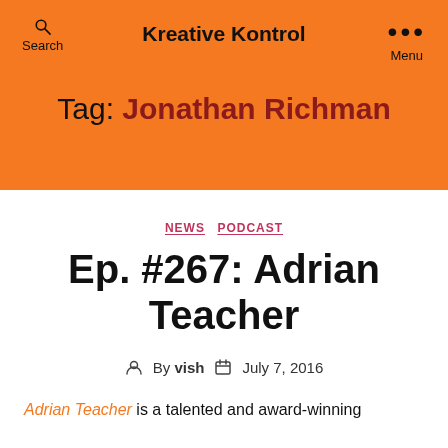Kreative Kontrol
Tag: Jonathan Richman
NEWS  PODCAST
Ep. #267: Adrian Teacher
By vish  July 7, 2016
Adrian Teacher is a talented and award-winning